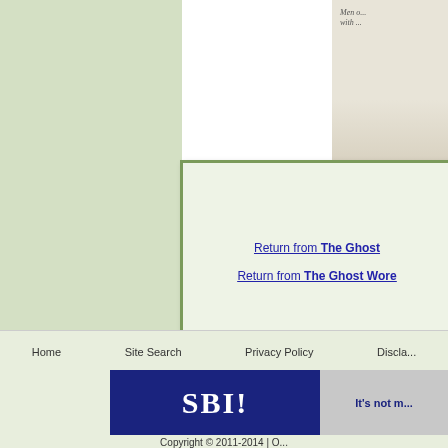[Figure (illustration): Partial book cover showing 'Men o...' text with winter/snowy scene]
Return from The Ghost [...]
Return from The Ghost Wore [...]
Return [...]
Home   Site Search   Privacy Policy   Discla...
[Figure (logo): SBI! logo banner - navy blue left side with SBI! text and globe, grey right side with 'It's not m...' text]
Copyright © 2011-2014 | O...